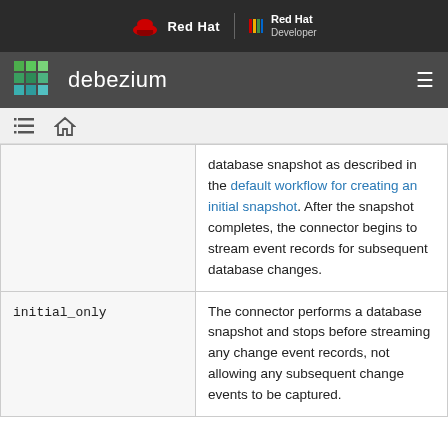Red Hat | Red Hat Developer
debezium
breadcrumb navigation icons
|  |  |
| --- | --- |
|  | database snapshot as described in the default workflow for creating an initial snapshot. After the snapshot completes, the connector begins to stream event records for subsequent database changes. |
| initial_only | The connector performs a database snapshot and stops before streaming any change event records, not allowing any subsequent change events to be captured. |